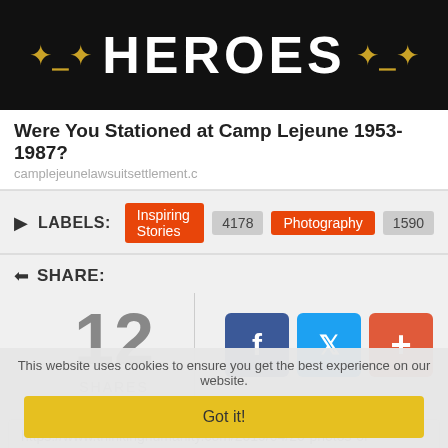[Figure (screenshot): Black banner with 'HEROES' in large white bold text, flanked by golden rope knot decorations on each side]
Were You Stationed at Camp Lejeune 1953-1987?
camplejeunelawsuitsettlement.c
LABELS: Inspiring Stories 4178 Photography 1590
SHARE: 12 SHARES
https://www.thinkinghumanity.com/2019/04/20-photos-of-
This website uses cookies to ensure you get the best experience on our website.
Got it!